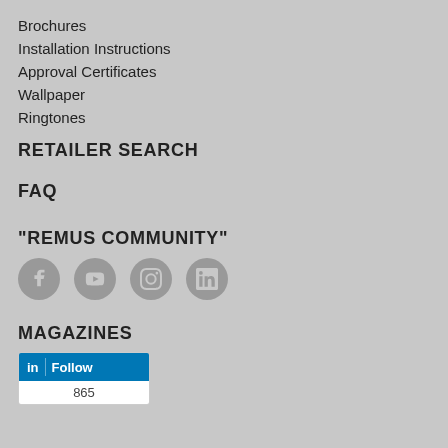Brochures
Installation Instructions
Approval Certificates
Wallpaper
Ringtones
RETAILER SEARCH
FAQ
"REMUS COMMUNITY"
[Figure (infographic): Four social media icon buttons: Facebook, YouTube, Instagram, LinkedIn — circular grey icons]
MAGAZINES
[Figure (infographic): LinkedIn Follow widget showing 865 followers]